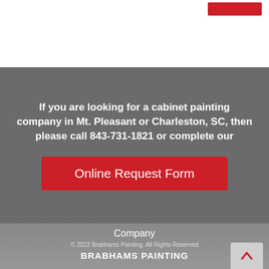[Figure (other): Red button/banner in top-right corner of white header section]
If you are looking for a cabinet painting company in Mt. Pleasant or Charleston, SC, then please call 843-731-1821 or complete our
Online Request Form
Company
© 2022 Brabhams Painting. All Rights Reserved
BRABHAMS PAINTING